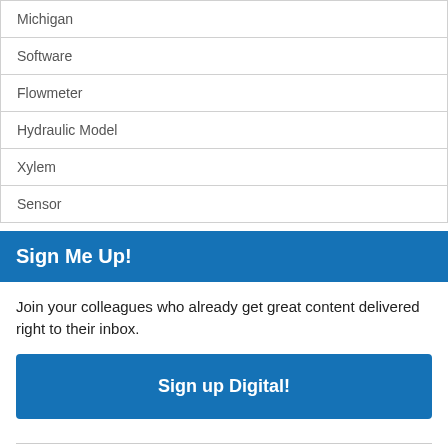| Michigan |
| Software |
| Flowmeter |
| Hydraulic Model |
| Xylem |
| Sensor |
Sign Me Up!
Join your colleagues who already get great content delivered right to their inbox.
Sign up Digital!
If you don't want to bring your iPad into the bathroom, we can send you a magazine subscription for free!